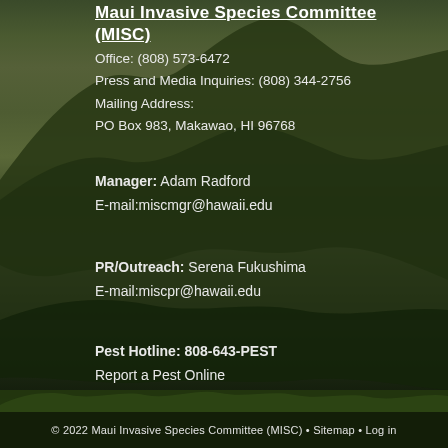Maui Invasive Species Committee (MISC)
Office: (808) 573-6472
Press and Media Inquiries: (808) 344-2756
Mailing Address:
PO Box 983, Makawao, HI 96768
Manager: Adam Radford
E-mail:miscmgr@hawaii.edu
PR/Outreach: Serena Fukushima
E-mail:miscpr@hawaii.edu
Pest Hotline: 808-643-PEST
Report a Pest Online
© 2022 Maui Invasive Species Committee (MISC) • Sitemap • Log in